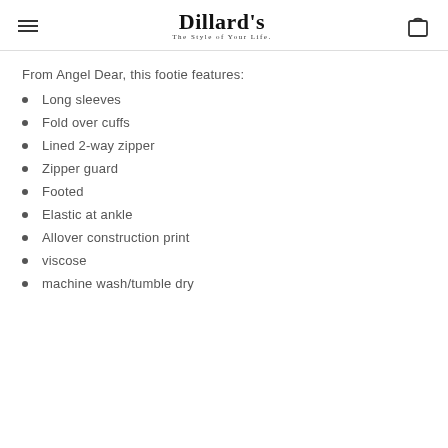Dillard's — The Style of Your Life.
From Angel Dear, this footie features:
Long sleeves
Fold over cuffs
Lined 2-way zipper
Zipper guard
Footed
Elastic at ankle
Allover construction print
viscose
machine wash/tumble dry